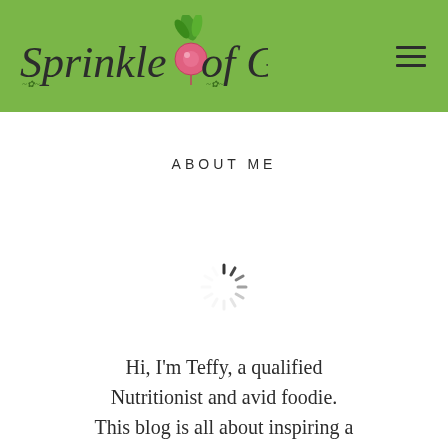[Figure (logo): Sprinkle of Green blog logo on green header bar with decorative script text and a radish illustration]
ABOUT ME
[Figure (other): Loading spinner / circular progress indicator]
Hi, I'm Teffy, a qualified Nutritionist and avid foodie. This blog is all about inspiring a